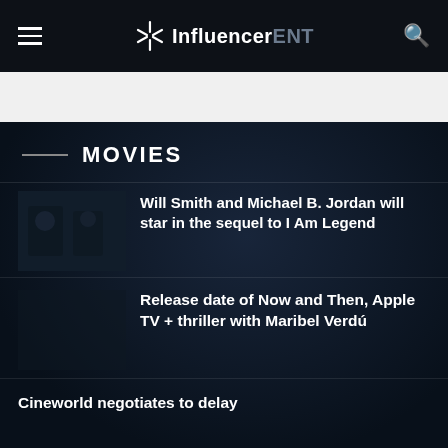InfluencerENT
MOVIES
Will Smith and Michael B. Jordan will star in the sequel to I Am Legend
Release date of Now and Then, Apple TV + thriller with Maribel Verdú
Cineworld negotiates to delay